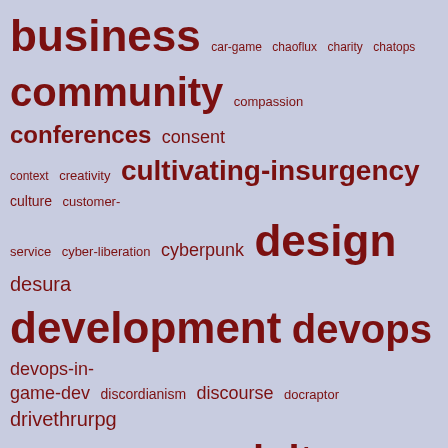[Figure (infographic): Word cloud with tags related to game development, indie games, and tech topics. Words are displayed in varying sizes proportional to their frequency/importance, in dark red/maroon color on a light periwinkle/lavender background. Words include: business, car-game, chaoflux, charity, chatops, community, compassion, conferences, consent, context, creativity, cultivating-insurgency, culture, customer-service, cyber-liberation, cyberpunk, design, desura, development, devops, devops-in-game-dev, discordianism, discourse, docraptor, drivethrurpg, ecgc, editing, education, ethics, exploit, fallen-london, faq, fireflower, flash, fonts, forums, free, future-proof-plays, game-jam, gamification, gdc, gdpr, godot, greenlight, hacking, hacktivism, halloween, headless-swarm, html5, human-rights, humble, ideas, igf, indie-games, indiegamestand, industry, input, inspiration, ios, itch.io, juice, kartridge, kindle, kongregate, labor, larp, learning, legal, levels, linux, lore, loveindies, lowrezjam, ludum-dare, macOS, majesty-of-colors, marketing, mba, mechanics, money, morals]